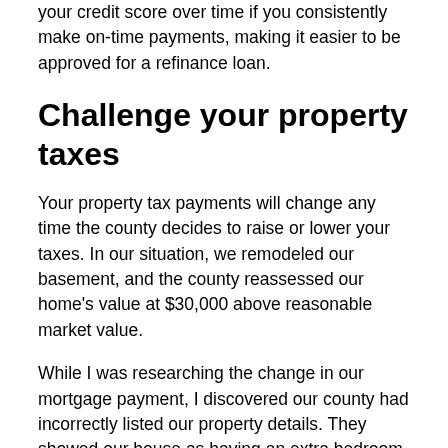your credit score over time if you consistently make on-time payments, making it easier to be approved for a refinance loan.
Challenge your property taxes
Your property tax payments will change any time the county decides to raise or lower your taxes. In our situation, we remodeled our basement, and the county reassessed our home's value at $30,000 above reasonable market value.
While I was researching the change in our mortgage payment, I discovered our county had incorrectly listed our property details. They showed our house as having an extra bedroom and more square footage than it actually had. This inflated our property taxes.